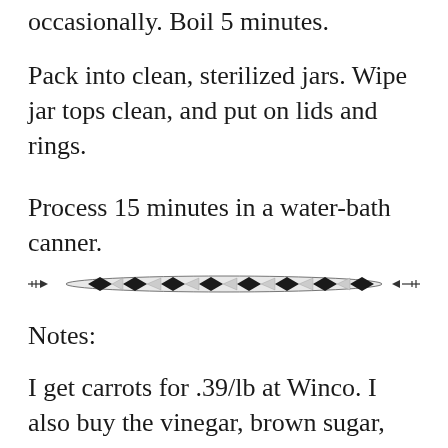occasionally. Boil 5 minutes.
Pack into clean, sterilized jars. Wipe jar tops clean, and put on lids and rings.
Process 15 minutes in a water-bath canner.
[Figure (illustration): Decorative horizontal divider with geometric diamond pattern, arrow-like shapes, and ornamental ends]
Notes:
I get carrots for .39/lb at Winco. I also buy the vinegar, brown sugar, kosher salt, garlic,